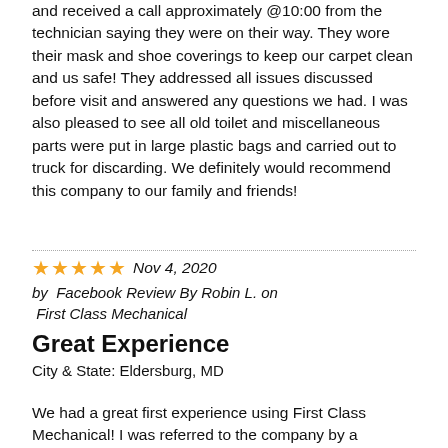and received a call approximately @10:00 from the technician saying they were on their way. They wore their mask and shoe coverings to keep our carpet clean and us safe! They addressed all issues discussed before visit and answered any questions we had. I was also pleased to see all old toilet and miscellaneous parts were put in large plastic bags and carried out to truck for discarding. We definitely would recommend this company to our family and friends!
★★★★★  Nov 4, 2020
by  Facebook Review By Robin L. on
 First Class Mechanical
Great Experience
City & State: Eldersburg, MD
We had a great first experience using First Class Mechanical! I was referred to the company by a coworker and they were absolutely correct when